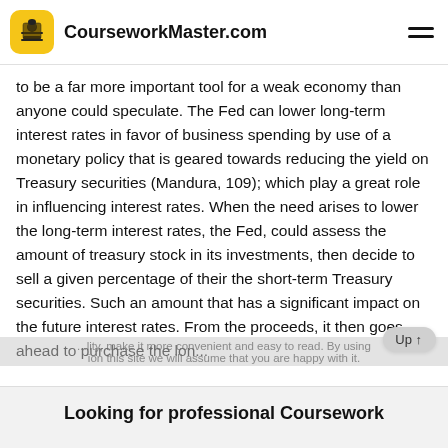CourseworkMaster.com
to be a far more important tool for a weak economy than anyone could speculate. The Fed can lower long-term interest rates in favor of business spending by use of a monetary policy that is geared towards reducing the yield on Treasury securities (Mandura, 109); which play a great role in influencing interest rates. When the need arises to lower the long-term interest rates, the Fed, could assess the amount of treasury stock in its investments, then decide to sell a given percentage of their the short-term Treasury securities. Such an amount that has a significant impact on the future interest rates. From the proceeds, it then goes ahead to purchase the lon...
Looking for professional Coursework